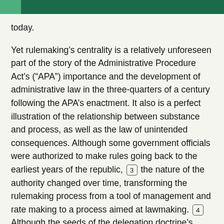today.
Yet rulemaking’s centrality is a relatively unforeseen part of the story of the Administrative Procedure Act’s (“APA”) importance and the development of administrative law in the three-quarters of a century following the APA’s enactment. It also is a perfect illustration of the relationship between substance and process, as well as the law of unintended consequences. Although some government officials were authorized to make rules going back to the earliest years of the republic, [3] the nature of the authority changed over time, transforming the rulemaking process from a tool of management and rate making to a process aimed at lawmaking. [4] Although the seeds of the delegation doctrine’s effective demise had been sown before adoption of the APA, it was reasonable for those who were